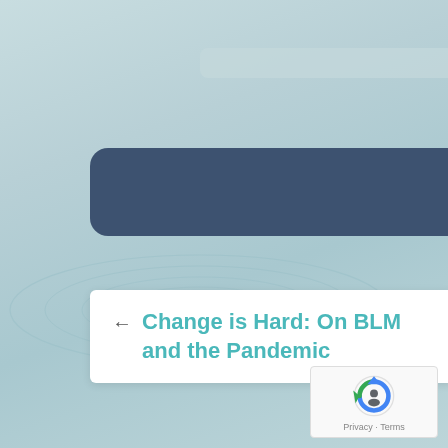[Figure (screenshot): Website screenshot showing a teal/light blue water ripple background with a dark navy rounded banner bar, and a white card overlay containing a back arrow and the title 'Change is Hard: On BLM and the Pandemic' in teal text. A reCAPTCHA badge appears in the bottom right corner.]
Change is Hard: On BLM and the Pandemic
[Figure (logo): reCAPTCHA logo with Privacy - Terms text]